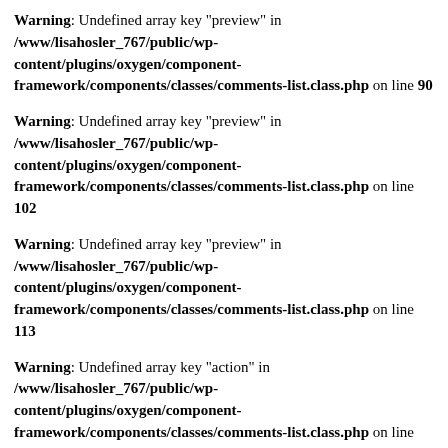Warning: Undefined array key "preview" in /www/lisahosler_767/public/wp-content/plugins/oxygen/component-framework/components/classes/comments-list.class.php on line 90
Warning: Undefined array key "preview" in /www/lisahosler_767/public/wp-content/plugins/oxygen/component-framework/components/classes/comments-list.class.php on line 102
Warning: Undefined array key "preview" in /www/lisahosler_767/public/wp-content/plugins/oxygen/component-framework/components/classes/comments-list.class.php on line 113
Warning: Undefined array key "action" in /www/lisahosler_767/public/wp-content/plugins/oxygen/component-framework/components/classes/comments-list.class.php on line 113
Warning: Undefined array key "preview" in /www/lisahosler_767/public/wp-content/plugins/oxygen/component-framework/components/classes/comments-list.class.php on line ...